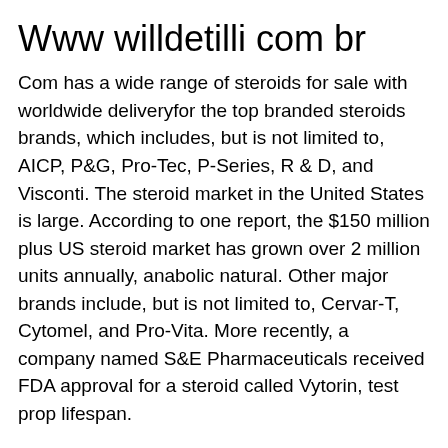Www willdetilli com br
Com has a wide range of steroids for sale with worldwide deliveryfor the top branded steroids brands, which includes, but is not limited to, AICP, P&G, Pro-Tec, P-Series, R & D, and Visconti. The steroid market in the United States is large. According to one report, the $150 million plus US steroid market has grown over 2 million units annually, anabolic natural. Other major brands include, but is not limited to, Cervar-T, Cytomel, and Pro-Vita. More recently, a company named S&E Pharmaceuticals received FDA approval for a steroid called Vytorin, test prop lifespan.
Vytorin can be sold legally in both the United States and internationally. In January 2014, a pharmaceutical company called Merck started marketing Vytorin in the United States. Merck said the drug is well tolerated